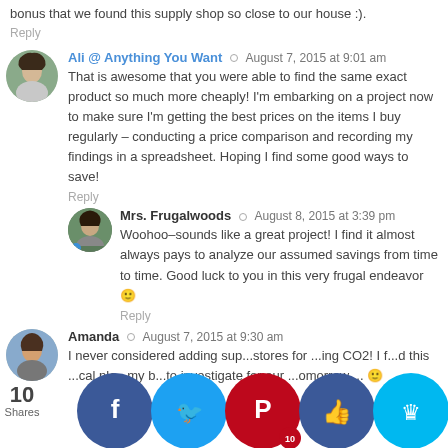bonus that we found this supply shop so close to our house :).
Reply
Ali @ Anything You Want  ○  August 7, 2015 at 9:01 am
That is awesome that you were able to find the same exact product so much more cheaply! I'm embarking on a project now to make sure I'm getting the best prices on the items I buy regularly – conducting a price comparison and recording my findings in a spreadsheet. Hoping I find some good ways to save!
Reply
Mrs. Frugalwoods  ○  August 8, 2015 at 3:39 pm
Woohoo–sounds like a great project! I find it almost always pays to analyze our assumed savings from time to time. Good luck to you in this very frugal endeavor 🙂
Reply
Amanda  ○  August 7, 2015 at 9:30 am
I never considered adding sup...stores for ...ing CO2! I f...d this ...cal pla...my b...to investigate for our ...omorrow ...🙂
[Figure (infographic): Social share bar with icons: Facebook (blue), Twitter (light blue), Pinterest (red, badge showing 10), Like button (blue), Crown/extra button (light blue). Share count shows 10 Shares.]